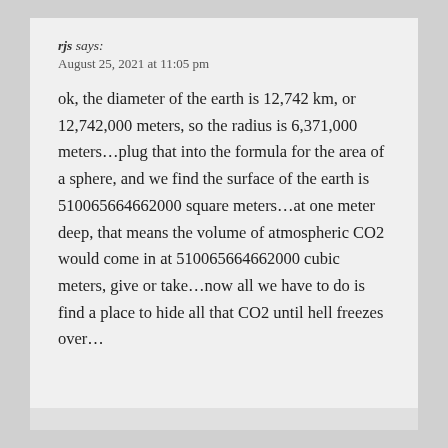rjs says:
August 25, 2021 at 11:05 pm
ok, the diameter of the earth is 12,742 km, or 12,742,000 meters, so the radius is 6,371,000 meters…plug that into the formula for the area of a sphere, and we find the surface of the earth is 510065664662000 square meters…at one meter deep, that means the volume of atmospheric CO2 would come in at 510065664662000 cubic meters, give or take…now all we have to do is find a place to hide all that CO2 until hell freezes over…